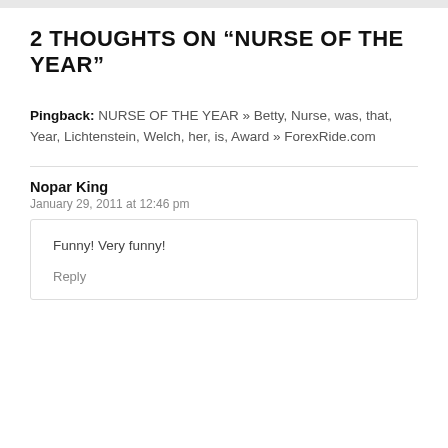2 THOUGHTS ON “NURSE OF THE YEAR”
Pingback: NURSE OF THE YEAR » Betty, Nurse, was, that, Year, Lichtenstein, Welch, her, is, Award » ForexRide.com
Nopar King
January 29, 2011 at 12:46 pm
Funny! Very funny!
Reply